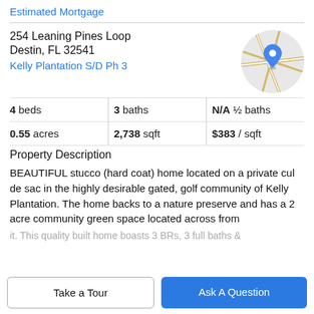Estimated Mortgage
254 Leaning Pines Loop
Destin, FL 32541
Kelly Plantation S/D Ph 3
[Figure (map): Circular map thumbnail showing street map with a blue location pin marker]
| 4 beds | 3 baths | N/A ½ baths |
| 0.55 acres | 2,738 sqft | $383 / sqft |
Property Description
BEAUTIFUL stucco (hard coat) home located on a private cul de sac in the highly desirable gated, golf community of Kelly Plantation. The home backs to a nature preserve and has a 2 acre community green space located across from
it. This quality built home boasts 3 BRs, 3 full baths &
Take a Tour
Ask A Question